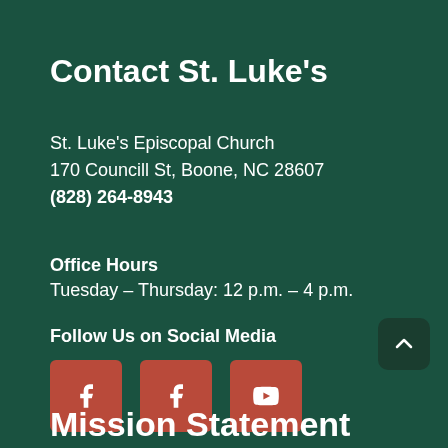Contact St. Luke's
St. Luke's Episcopal Church
170 Councill St, Boone, NC 28607
(828) 264-8943
Office Hours
Tuesday – Thursday: 12 p.m. – 4 p.m.
Follow Us on Social Media
[Figure (other): Three social media icon buttons (two Facebook icons and one YouTube icon) on dark red/brown square backgrounds]
Mission Statement